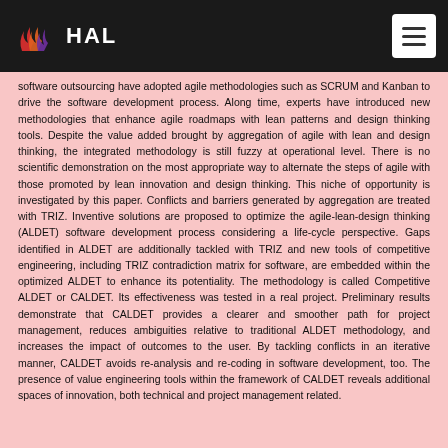HAL
software outsourcing have adopted agile methodologies such as SCRUM and Kanban to drive the software development process. Along time, experts have introduced new methodologies that enhance agile roadmaps with lean patterns and design thinking tools. Despite the value added brought by aggregation of agile with lean and design thinking, the integrated methodology is still fuzzy at operational level. There is no scientific demonstration on the most appropriate way to alternate the steps of agile with those promoted by lean innovation and design thinking. This niche of opportunity is investigated by this paper. Conflicts and barriers generated by aggregation are treated with TRIZ. Inventive solutions are proposed to optimize the agile-lean-design thinking (ALDET) software development process considering a life-cycle perspective. Gaps identified in ALDET are additionally tackled with TRIZ and new tools of competitive engineering, including TRIZ contradiction matrix for software, are embedded within the optimized ALDET to enhance its potentiality. The methodology is called Competitive ALDET or CALDET. Its effectiveness was tested in a real project. Preliminary results demonstrate that CALDET provides a clearer and smoother path for project management, reduces ambiguities relative to traditional ALDET methodology, and increases the impact of outcomes to the user. By tackling conflicts in an iterative manner, CALDET avoids re-analysis and re-coding in software development, too. The presence of value engineering tools within the framework of CALDET reveals additional spaces of innovation, both technical and project management related.